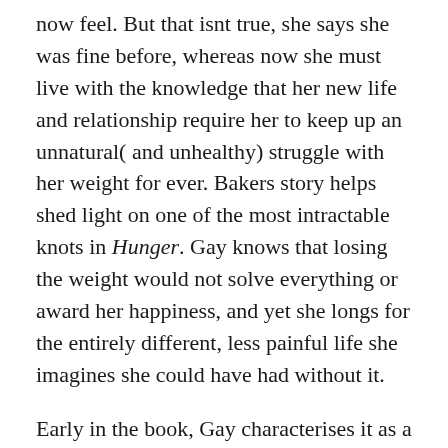now feel. But that isnt true, she says she was fine before, whereas now she must live with the knowledge that her new life and relationship require her to keep up an unnatural( and unhealthy) struggle with her weight for ever. Bakers story helps shed light on one of the most intractable knots in Hunger. Gay knows that losing the weight would not solve everything or award her happiness, and yet she longs for the entirely different, less painful life she imagines she could have had without it.
Early in the book, Gay characterises it as a confession, that term so often flung as an insult at women who write about themselves.